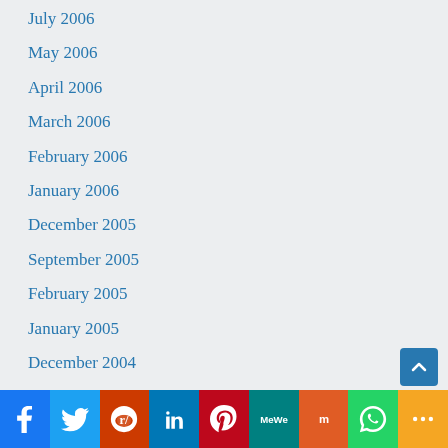July 2006
May 2006
April 2006
March 2006
February 2006
January 2006
December 2005
September 2005
February 2005
January 2005
December 2004
[Figure (other): Social sharing bar with icons for Facebook, Twitter, Reddit, LinkedIn, Pinterest, MeWe, Mix, WhatsApp, and More]